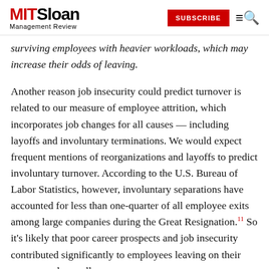MIT Sloan Management Review | SUBSCRIBE
surviving employees with heavier workloads, which may increase their odds of leaving.
Another reason job insecurity could predict turnover is related to our measure of employee attrition, which incorporates job changes for all causes — including layoffs and involuntary terminations. We would expect frequent mentions of reorganizations and layoffs to predict involuntary turnover. According to the U.S. Bureau of Labor Statistics, however, involuntary separations have accounted for less than one-quarter of all employee exits among large companies during the Great Resignation.11 So it's likely that poor career prospects and job insecurity contributed significantly to employees leaving on their own accord as well.